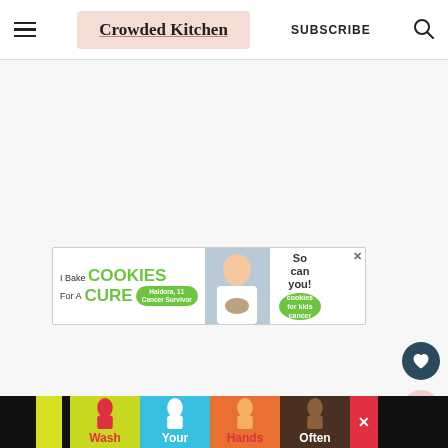Crowded Kitchen | SUBSCRIBE
[Figure (screenshot): Gray empty content area with advertisement banners and social action buttons (heart, share)]
[Figure (infographic): Advertisement banner: I Bake COOKIES For A CURE - Haldora, 11 Cancer Survivor - So can you! cookies for kids cancer]
[Figure (infographic): Bottom advertisement banner: Wash Your Hands Often - with illustrated hands in multiple skin tones]